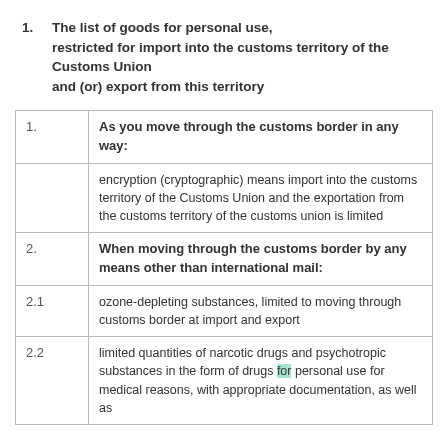1. The list of goods for personal use, restricted for import into the customs territory of the Customs Union and (or) export from this territory
| # | Description |
| --- | --- |
| 1. | As you move through the customs border in any way: |
|  | encryption (cryptographic) means import into the customs territory of the Customs Union and the exportation from the customs territory of the customs union is limited |
| 2. | When moving through the customs border by any means other than international mail: |
| 2.1 | ozone-depleting substances, limited to moving through customs border at import and export |
| 2.2 | limited quantities of narcotic drugs and psychotropic substances in the form of drugs for personal use for medical reasons, with appropriate documentation, as well as |